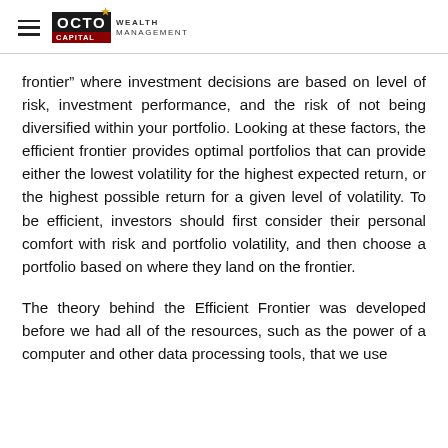OCTO CAPITAL WEALTH MANAGEMENT
frontier” where investment decisions are based on level of risk, investment performance, and the risk of not being diversified within your portfolio. Looking at these factors, the efficient frontier provides optimal portfolios that can provide either the lowest volatility for the highest expected return, or the highest possible return for a given level of volatility. To be efficient, investors should first consider their personal comfort with risk and portfolio volatility, and then choose a portfolio based on where they land on the frontier.
The theory behind the Efficient Frontier was developed before we had all of the resources, such as the power of a computer and other data processing tools, that we use